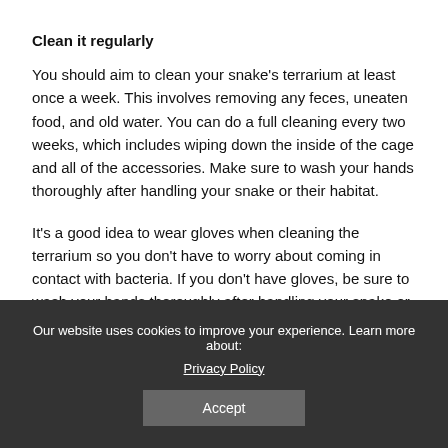Clean it regularly
You should aim to clean your snake's terrarium at least once a week. This involves removing any feces, uneaten food, and old water. You can do a full cleaning every two weeks, which includes wiping down the inside of the cage and all of the accessories. Make sure to wash your hands thoroughly after handling your snake or their habitat.
It's a good idea to wear gloves when cleaning the terrarium so you don't have to worry about coming in contact with bacteria. If you don't have gloves, be sure to wash your hands thoroughly after handling your snake or their habitat.
Our website uses cookies to improve your experience. Learn more about: Privacy Policy Accept